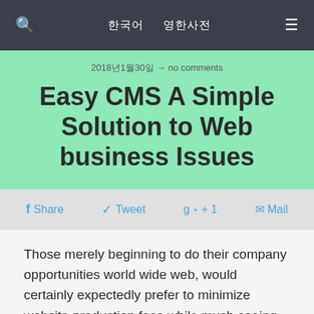🔍  한국어  영한사전  ≡
2018년1월30일 → no comments
Easy CMS A Simple Solution to Web business Issues
Share  Tweet  g+ + 1  Mail
Those merely beginning to do their company opportunities world wide web, would certainly expectedly prefer to minimize website production fees while much seeing that possible. More often than not, budding online marketers focus exclusively on accomplishing basic SEARCH ENGINE MARKETING approaches, bearing in mind that accomplishing would come to be acceptable so that you can ensure a appreciable increase in traffic.